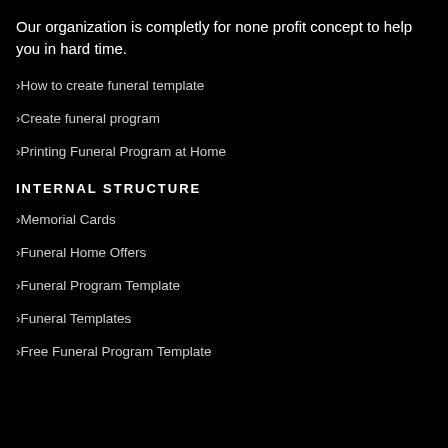Our organization is completly for none profit concept to help you in hard time.
How to create funeral template
Create funeral program
Printing Funeral Program at Home
INTERNAL STRUCTURE
Memorial Cards
Funeral Home Offers
Funeral Program Template
Funeral Templates
Free Funeral Program Template